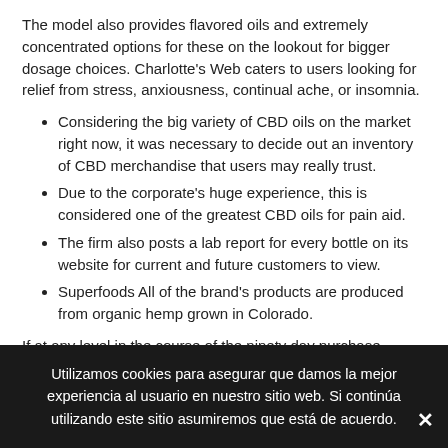The model also provides flavored oils and extremely concentrated options for these on the lookout for bigger dosage choices. Charlotte's Web caters to users looking for relief from stress, anxiousness, continual ache, or insomnia.
Considering the big variety of CBD oils on the market right now, it was necessary to decide out an inventory of CBD merchandise that users may really trust.
Due to the corporate's huge experience, this is considered one of the greatest CBD oils for pain aid.
The firm also posts a lab report for every bottle on its website for current and future customers to view.
Superfoods All of the brand's products are produced from organic hemp grown in Colorado.
If at any level in the course of the ninety day purchase period you're unsatisfied, even after utilizing the product, CBDPure offers a full refund. The company proudly presents the outcomes of its lab examined merchandise on the internet site for both current and potential
Utilizamos cookies para asegurar que damos la mejor experiencia al usuario en nuestro sitio web. Si continúa utilizando este sitio asumiremos que está de acuerdo.